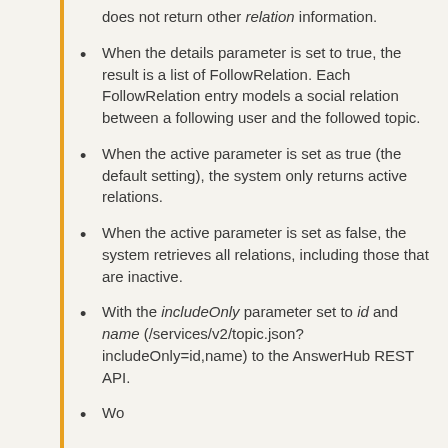does not return other relation information.
When the details parameter is set to true, the result is a list of FollowRelation. Each FollowRelation entry models a social relation between a following user and the followed topic.
When the active parameter is set as true (the default setting), the system only returns active relations.
When the active parameter is set as false, the system retrieves all relations, including those that are inactive.
With the includeOnly parameter set to id and name (/services/v2/topic.json?includeOnly=id,name) to the AnswerHub REST API.
Wo...